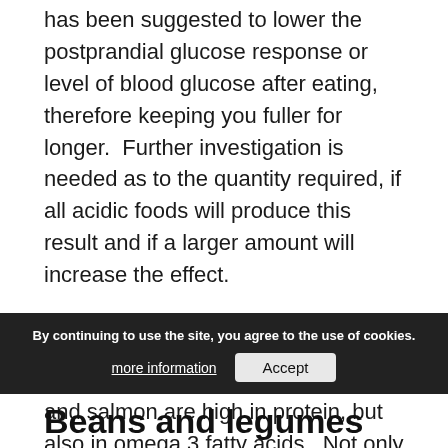has been suggested to lower the postprandial glucose response or level of blood glucose after eating, therefore keeping you fuller for longer.  Further investigation is needed as to the quantity required, if all acidic foods will produce this result and if a larger amount will increase the effect.
Oily Fish
Oily fish such as mackerel, sardines and salmon are high in protein, but also in omega 3 fatty acids.  Not only are these types of fats beneficial for heart health, but research suggests that a high intake of these in the d…
By continuing to use the site, you agree to the use of cookies. more information  Accept
Beans and legumes